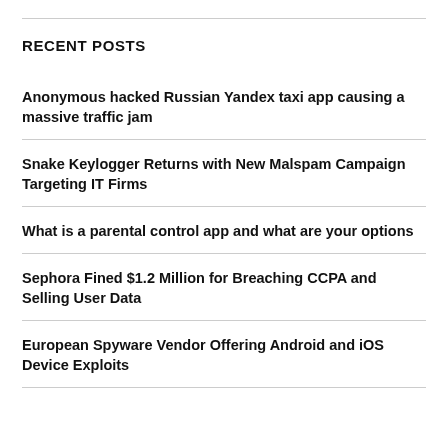RECENT POSTS
Anonymous hacked Russian Yandex taxi app causing a massive traffic jam
Snake Keylogger Returns with New Malspam Campaign Targeting IT Firms
What is a parental control app and what are your options
Sephora Fined $1.2 Million for Breaching CCPA and Selling User Data
European Spyware Vendor Offering Android and iOS Device Exploits